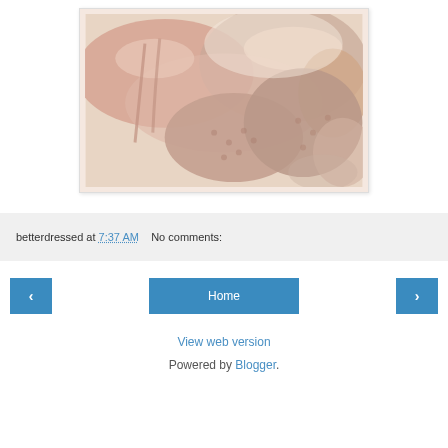[Figure (photo): Close-up photo of pink/rose gold satin and lace bras arranged together]
betterdressed at 7:37 AM   No comments:
< Home >
View web version
Powered by Blogger.